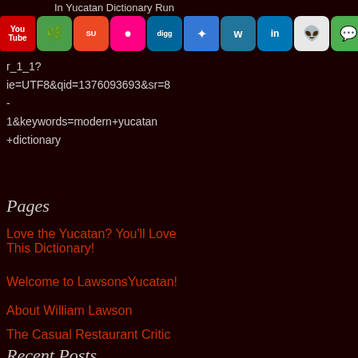In Yucatan Dictionary Run
[Figure (infographic): Row of social media icons: YouTube, plant/green icon, StumbleUpon, Flickr, Digg, Delicious, WordPress, LinkedIn, Reddit, Messages, Facebook, Twitter, RSS]
r_1_1?
ie=UTF8&qid=1376093693&sr=8
-
1&keywords=modern+yucatan
+dictionary
Pages
Love the Yucatan? You'll Love This Dictionary!
Welcome to LawsonsYucatan!
About William Lawson
The Casual Restaurant Critic
Recent Posts